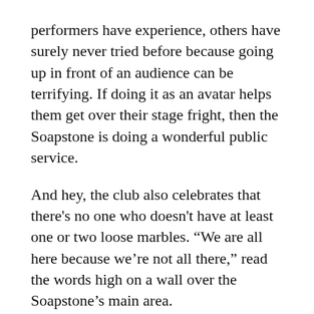performers have experience, others have surely never tried before because going up in front of an audience can be terrifying. If doing it as an avatar helps them get over their stage fright, then the Soapstone is doing a wonderful public service.
And hey, the club also celebrates that there's no one who doesn't have at least one or two loose marbles. “We are all here because we're not all there,” read the words high on a wall over the Soapstone's main area.
The Soapstone has performances nearly every day—story hour Sunday nights at